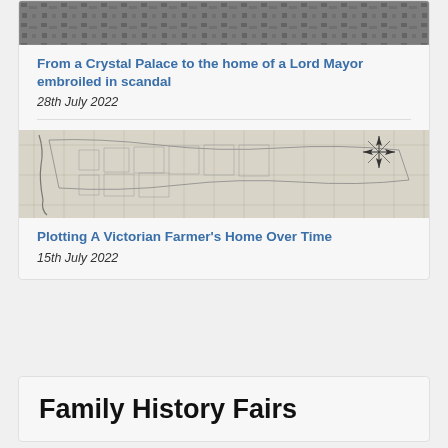[Figure (photo): Black and white aerial photograph of a large building complex]
From a Crystal Palace to the home of a Lord Mayor embroiled in scandal
28th July 2022
[Figure (map): Antique hand-drawn map showing land plots with a compass rose in the upper right]
Plotting A Victorian Farmer's Home Over Time
15th July 2022
Family History Fairs